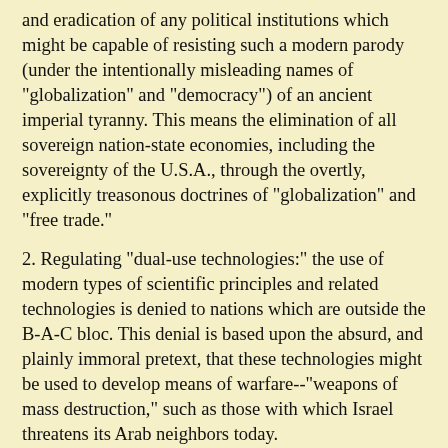and eradication of any political institutions which might be capable of resisting such a modern parody (under the intentionally misleading names of "globalization" and "democracy") of an ancient imperial tyranny. This means the elimination of all sovereign nation-state economies, including the sovereignty of the U.S.A., through the overtly, explicitly treasonous doctrines of "globalization" and "free trade."
2. Regulating "dual-use technologies:" the use of modern types of scientific principles and related technologies is denied to nations which are outside the B-A-C bloc. This denial is based upon the absurd, and plainly immoral pretext, that these technologies might be used to develop means of warfare--"weapons of mass destruction," such as those with which Israel threatens its Arab neighbors today.
In fact, any technology which would enable a nation to maintain and improve the general welfare of its population, is a technology which falls under the heading of "dual-use technologies." In other words, the true motive of the bans on so-called "dual-use